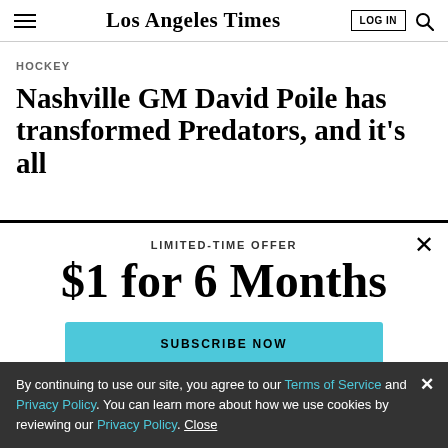Los Angeles Times
HOCKEY
Nashville GM David Poile has transformed Predators, and it's all
LIMITED-TIME OFFER
$1 for 6 Months
SUBSCRIBE NOW
By continuing to use our site, you agree to our Terms of Service and Privacy Policy. You can learn more about how we use cookies by reviewing our Privacy Policy. Close